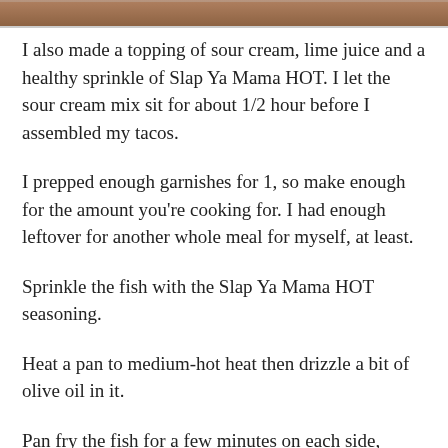[Figure (photo): Top portion of a food photo, cropped at the top of the page]
I also made a topping of sour cream, lime juice and a healthy sprinkle of Slap Ya Mama HOT. I let the sour cream mix sit for about 1/2 hour before I assembled my tacos.
I prepped enough garnishes for 1, so make enough for the amount you're cooking for. I had enough leftover for another whole meal for myself, at least.
Sprinkle the fish with the Slap Ya Mama HOT seasoning.
Heat a pan to medium-hot heat then drizzle a bit of olive oil in it.
Pan fry the fish for a few minutes on each side, remove from pan.